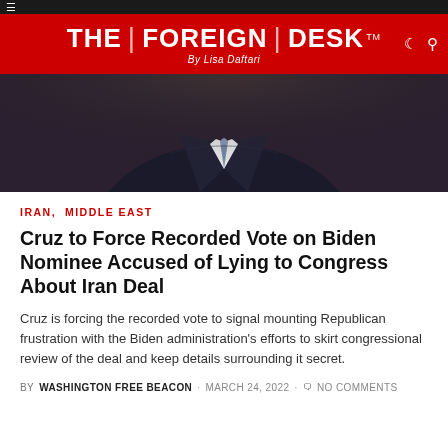THE | FOREIGN | DESK By Lisa Daftari
[Figure (photo): Partial view of a man in a dark suit and blue tie, photographed from below the face, showing chest and torso]
IRAN, MIDDLE EAST
Cruz to Force Recorded Vote on Biden Nominee Accused of Lying to Congress About Iran Deal
Cruz is forcing the recorded vote to signal mounting Republican frustration with the Biden administration's efforts to skirt congressional review of the deal and keep details surrounding it secret.
BY WASHINGTON FREE BEACON · MARCH 24, 2022 · NO COMMENTS